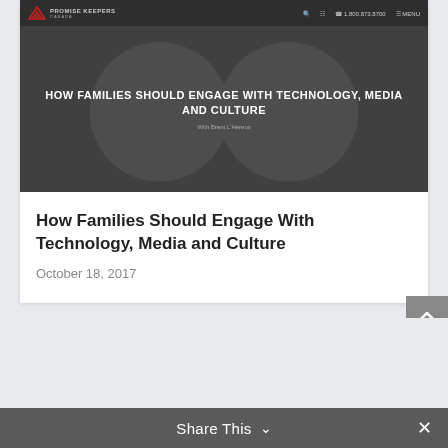[Figure (screenshot): Screenshot of Promise Keepers Canada website showing a dark-themed webpage with navigation bar and hero image with headline 'HOW FAMILIES SHOULD ENGAGE WITH TECHNOLOGY, MEDIA AND CULTURE']
How Families Should Engage With Technology, Media and Culture
October 18, 2017
Share This